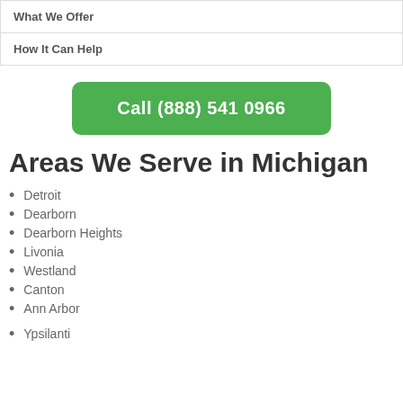| What We Offer |
| How It Can Help |
Call (888) 541 0966
Areas We Serve in Michigan
Detroit
Dearborn
Dearborn Heights
Livonia
Westland
Canton
Ann Arbor
Ypsilanti